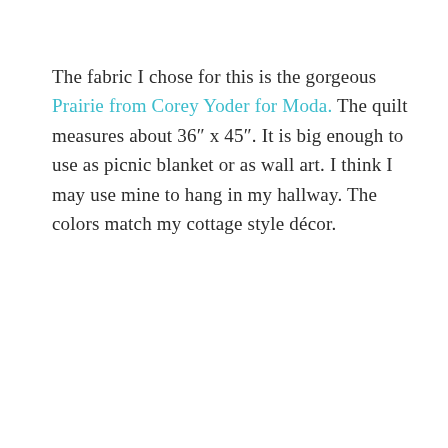The fabric I chose for this is the gorgeous Prairie from Corey Yoder for Moda. The quilt measures about 36″ x 45″. It is big enough to use as picnic blanket or as wall art. I think I may use mine to hang in my hallway. The colors match my cottage style décor.